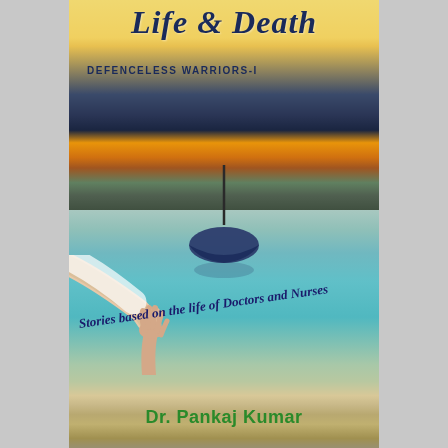Life & Death
Defenceless Warriors-I
[Figure (illustration): Book cover illustration: top half shows a dramatic sunset sky over water with dark clouds and orange/golden horizon; bottom half shows a calm turquoise sea with a small dark boat in the middle distance, a hand reaching down from the left and a drowning hand reaching up from the water, with a rocky beach in the foreground.]
Stories based on the life of Doctors and Nurses
Dr. Pankaj Kumar